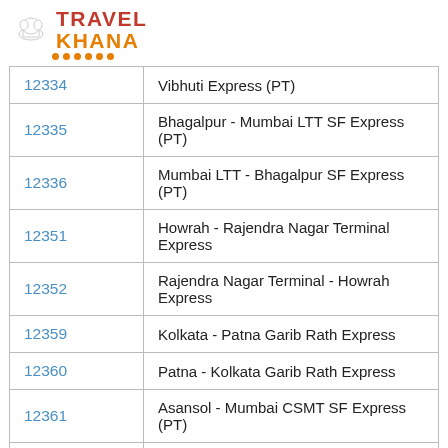[Figure (logo): TravelKhana logo with chef hat icon, red TRAVEL text, orange KHANA text, and orange dots underline]
| 12334 | Vibhuti Express (PT) |
| 12335 | Bhagalpur - Mumbai LTT SF Express (PT) |
| 12336 | Mumbai LTT - Bhagalpur SF Express (PT) |
| 12351 | Howrah - Rajendra Nagar Terminal Express |
| 12352 | Rajendra Nagar Terminal - Howrah Express |
| 12359 | Kolkata - Patna Garib Rath Express |
| 12360 | Patna - Kolkata Garib Rath Express |
| 12361 | Asansol - Mumbai CSMT SF Express (PT) |
| 12362 | Mumbai CSMT - Asansol SF Express (PT) |
| 12367 | Vikramshila Express (PT) |